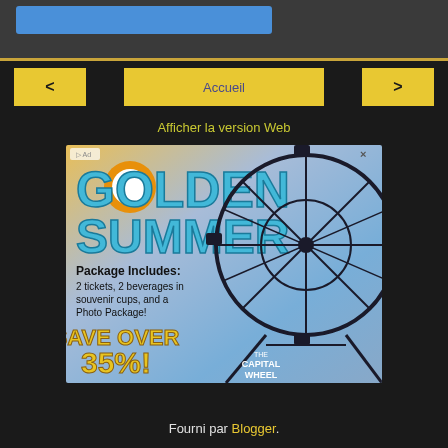< Accueil >
Afficher la version Web
[Figure (illustration): Golden Summer advertisement for The Capital Wheel. Features 'GOLDEN SUMMER' text in blue, a Ferris wheel photo on the right, and package details: 2 tickets, 2 beverages in souvenir cups, and a Photo Package. Save over 35%!]
Fourni par Blogger.